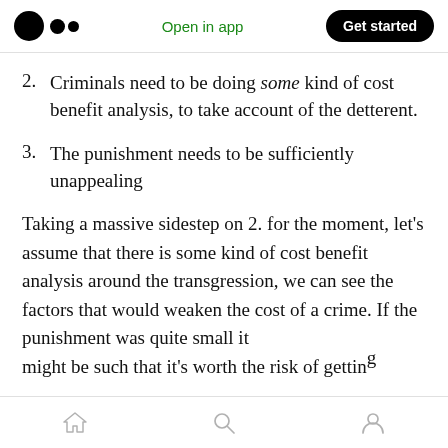Open in app | Get started
2. Criminals need to be doing some kind of cost benefit analysis, to take account of the detterent.
3. The punishment needs to be sufficiently unappealing
Taking a massive sidestep on 2. for the moment, let's assume that there is some kind of cost benefit analysis around the transgression, we can see the factors that would weaken the cost of a crime. If the punishment was quite small it might be such that it's worth the risk of getting —
Home | Search | Profile